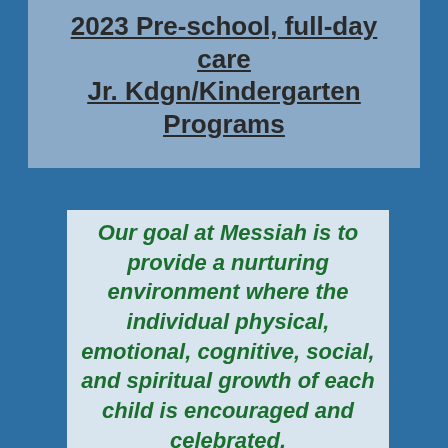2023 Pre-school, full-day care Jr. Kdgn/Kindergarten Programs
Our goal at Messiah is to provide a nurturing environment where the individual physical, emotional, cognitive, social, and spiritual growth of each child is encouraged and celebrated.